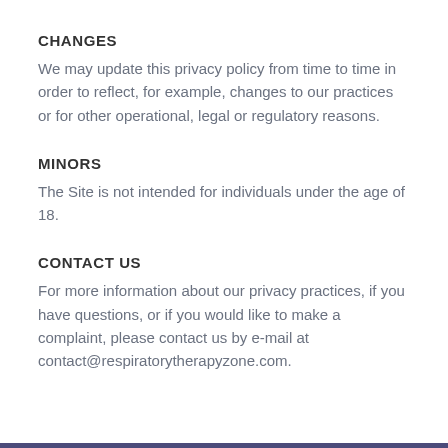CHANGES
We may update this privacy policy from time to time in order to reflect, for example, changes to our practices or for other operational, legal or regulatory reasons.
MINORS
The Site is not intended for individuals under the age of 18.
CONTACT US
For more information about our privacy practices, if you have questions, or if you would like to make a complaint, please contact us by e-mail at contact@respiratorytherapyzone.com.